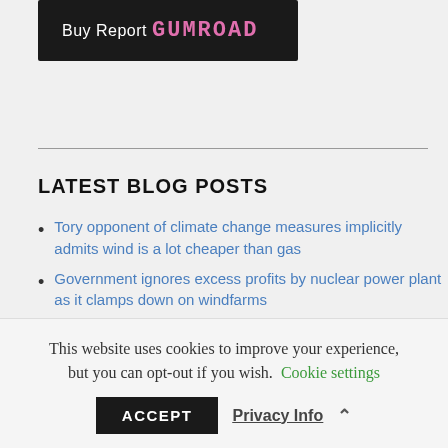[Figure (other): Buy Report Gumroad button banner — dark background with white 'Buy Report' text and pink/magenta 'GUMROAD' logo text]
LATEST BLOG POSTS
Tory opponent of climate change measures implicitly admits wind is a lot cheaper than gas
Government ignores excess profits by nuclear power plant as it clamps down on windfarms
EDF's woes are a bigger long term problem for the EU than the war in Ukraine
Latest Research – Baseload generators such
This website uses cookies to improve your experience, but you can opt-out if you wish. Cookie settings
ACCEPT  Privacy Info